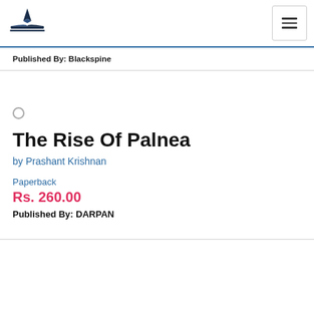[Figure (logo): Publisher/bookstore logo: a pen nib above an open book, with a horizontal line underneath, in dark navy/black]
Published By: Blackspine
The Rise Of Palnea
by Prashant Krishnan
Paperback
Rs. 260.00
Published By: DARPAN